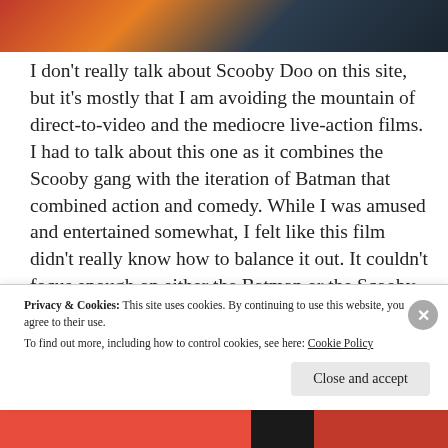[Figure (photo): Partial screenshot of a blog post with an animated image at the top showing colorful cartoon characters (Scooby Doo/Batman themed) in orange, red, and dark tones.]
I don't really talk about Scooby Doo on this site, but it's mostly that I am avoiding the mountain of direct-to-video and the mediocre live-action films. I had to talk about this one as it combines the Scooby gang with the iteration of Batman that combined action and comedy. While I was amused and entertained somewhat, I felt like this film didn't really know how to balance it out. It couldn't focus enough on either the Batman or the Scooby
Privacy & Cookies: This site uses cookies. By continuing to use this website, you agree to their use.
To find out more, including how to control cookies, see here: Cookie Policy
Close and accept